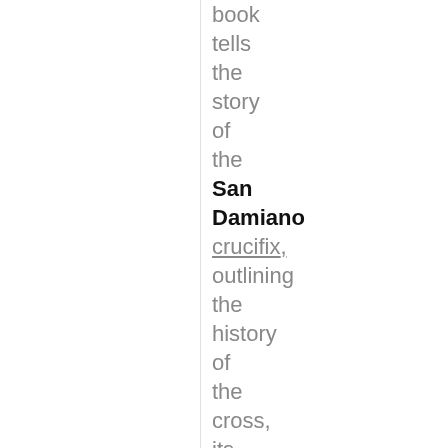book tells the story of the San Damiano crucifix, outlining the history of the cross, its significance in the